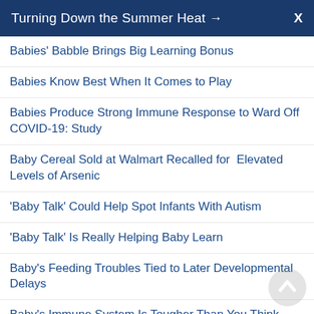Turning Down the Summer Heat → X
Babies' Babble Brings Big Learning Bonus
Babies Know Best When It Comes to Play
Babies Produce Strong Immune Response to Ward Off COVID-19: Study
Baby Cereal Sold at Walmart Recalled for Elevated Levels of Arsenic
'Baby Talk' Could Help Spot Infants With Autism
'Baby Talk' Is Really Helping Baby Learn
Baby's Feeding Troubles Tied to Later Developmental Delays
Baby's Immune System Is Tougher Than You Think
Backyard Chicken Coops Pose Threat of 'Viral Spillover' to People
Backyard Fireworks on the 4th? Rethink It to Keep